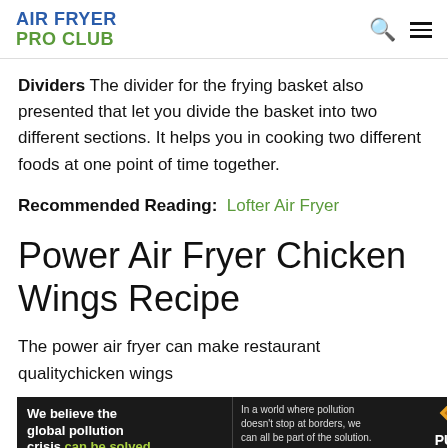AIR FRYER PRO CLUB
Dividers The divider for the frying basket also presented that let you divide the basket into two different sections. It helps you in cooking two different foods at one point of time together.
Recommended Reading: Lofter Air Fryer
Power Air Fryer Chicken Wings Recipe
The power air fryer can make restaurant qualitychicken wings
[Figure (other): Advertisement banner for Pure Earth organization with text: We believe the global pollution crisis can be solved. In a world where pollution doesn't stop at borders, we can all be part of the solution. JOIN US. PURE EARTH logo with diamond icon.]